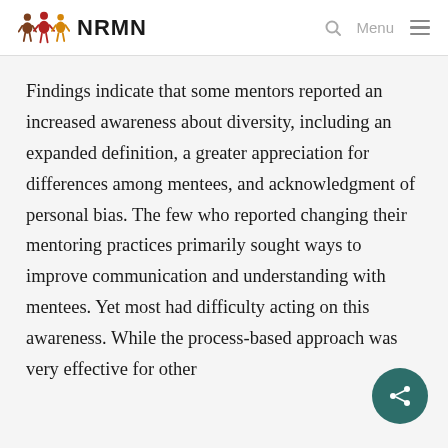NRMN
Findings indicate that some mentors reported an increased awareness about diversity, including an expanded definition, a greater appreciation for differences among mentees, and acknowledgment of personal bias. The few who reported changing their mentoring practices primarily sought ways to improve communication and understanding with mentees. Yet most had difficulty acting on this awareness. While the process-based approach was very effective for other